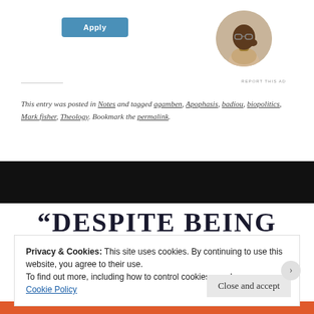[Figure (illustration): Blue 'Apply' button UI element]
[Figure (photo): Circular cropped photo of a man thinking, seated at a desk]
REPORT THIS AD
This entry was posted in Notes and tagged agamben, Apophasis, badiou, biopolitics, Mark fisher, Theology. Bookmark the permalink.
“DESPITE BEING
Privacy & Cookies: This site uses cookies. By continuing to use this website, you agree to their use.
To find out more, including how to control cookies, see here:
Cookie Policy
Close and accept